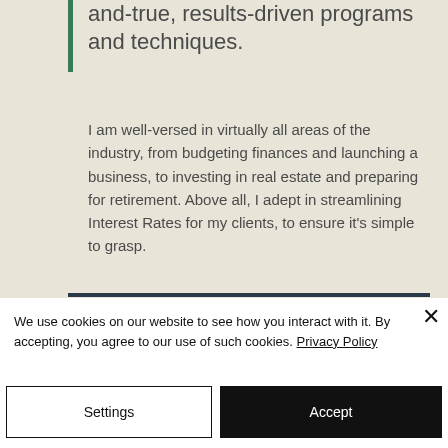and-true, results-driven programs and techniques.
I am well-versed in virtually all areas of the industry, from budgeting finances and launching a business, to investing in real estate and preparing for retirement. Above all, I adept in streamlining Interest Rates for my clients, to ensure it's simple to grasp.
We use cookies on our website to see how you interact with it. By accepting, you agree to our use of such cookies. Privacy Policy
Settings
Accept